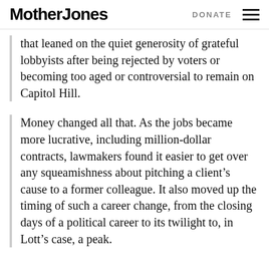Mother Jones | DONATE
that leaned on the quiet generosity of grateful lobbyists after being rejected by voters or becoming too aged or controversial to remain on Capitol Hill.
Money changed all that. As the jobs became more lucrative, including million-dollar contracts, lawmakers found it easier to get over any squeamishness about pitching a client’s cause to a former colleague. It also moved up the timing of such a career change, from the closing days of a political career to its twilight to, in Lott’s case, a peak.